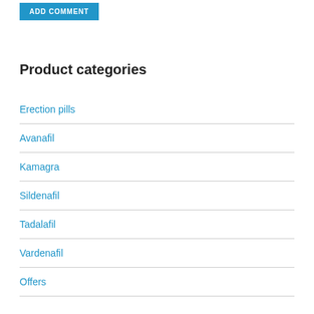ADD COMMENT
Product categories
Erection pills
Avanafil
Kamagra
Sildenafil
Tadalafil
Vardenafil
Offers